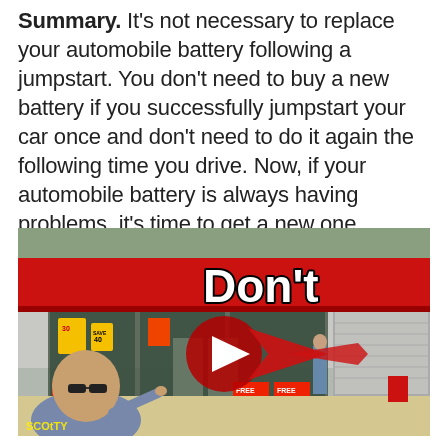Summary. It's not necessary to replace your automobile battery following a jumpstart. You don't need to buy a new battery if you successfully jumpstart your car once and don't need to do it again the following time you drive. Now, if your automobile battery is always having problems, it's time to get a new one.
[Figure (screenshot): YouTube video thumbnail showing a man with sunglasses pointing, in front of a store with a red sign. A large white play button is centered. Text overlay reads 'Don't' in bold white with black outline. Bottom left watermark reads 'SCOtTY'.]